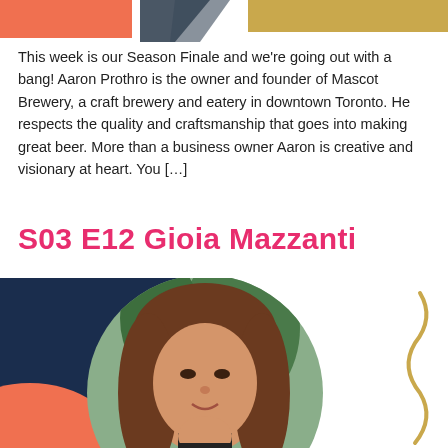[Figure (illustration): Decorative shapes at top of page: orange rectangle top-left, dark triangle with lines, gold/khaki rectangle top-right]
This week is our Season Finale and we're going out with a bang! Aaron Prothro is the owner and founder of Mascot Brewery, a craft brewery and eatery in downtown Toronto. He respects the quality and craftsmanship that goes into making great beer. More than a business owner Aaron is creative and visionary at heart. You [...]
S03 E12 Gioia Mazzanti
[Figure (photo): Circular portrait photo of a woman with long brown hair wearing a black turtleneck, smiling. Background shows green plant leaves. Set over a dark navy background block with orange and gold decorative elements.]